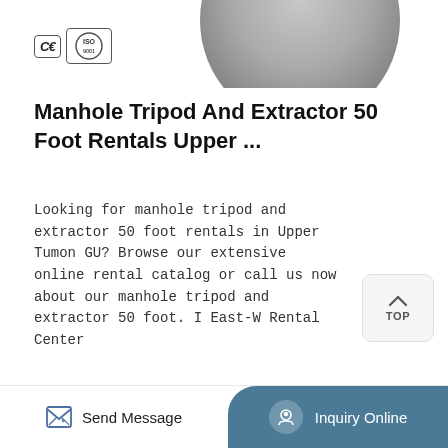[Figure (photo): Gray circular manhole cover viewed from above, partially cropped at top of page]
[Figure (logo): CE and ISO certification badges/logos in bordered boxes]
Manhole Tripod And Extractor 50 Foot Rentals Upper ...
Looking for manhole tripod and extractor 50 foot rentals in Upper Tumon GU? Browse our extensive online rental catalog or call us now about our manhole tripod and extractor 50 foot. I East-W Rental Center
[Figure (other): TOP button with upward arrow chevron, light gray rounded square button]
Learn More
Send Message | Inquiry Online